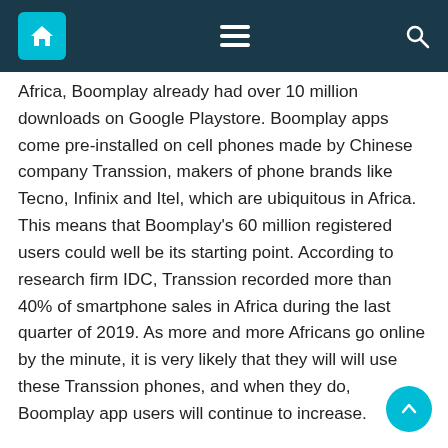Navigation bar with home, menu, and search icons
Africa, Boomplay already had over 10 million downloads on Google Playstore. Boomplay apps come pre-installed on cell phones made by Chinese company Transsion, makers of phone brands like Tecno, Infinix and Itel, which are ubiquitous in Africa. This means that Boomplay's 60 million registered users could well be its starting point. According to research firm IDC, Transsion recorded more than 40% of smartphone sales in Africa during the last quarter of 2019. As more and more Africans go online by the minute, it is very likely that they will will use these Transsion phones, and when they do, Boomplay app users will continue to increase.
These local actors also have a deeper relationship with the industry, the artists, the music community and the media; and they don't have the payment barriers that some foreign streaming apps have. Not only Audiomack and Boomplay allow Africans to use their streaming platform for free,